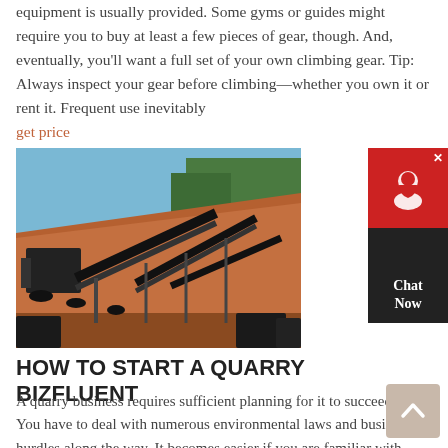equipment is usually provided. Some gyms or guides might require you to buy at least a few pieces of gear, though. And, eventually, you'll want a full set of your own climbing gear. Tip: Always inspect your gear before climbing—whether you own it or rent it. Frequent use inevitably
get price
[Figure (photo): Outdoor quarry or mining site with heavy industrial conveyor belt machinery and equipment on excavated red/orange earth, with trees in background under blue sky.]
[Figure (other): Chat Now widget: red circular chat icon on dark background with 'Chat Now' text in white.]
HOW TO START A QUARRY BIZFLUENT
A quarry business requires sufficient planning for it to succeed. You have to deal with numerous environmental laws and business hurdles along the way. It becomes easier if you are familiar with the industry because you understand the basic